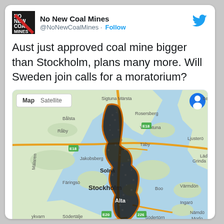[Figure (screenshot): No New Coal Mines logo - black square with red diagonal slash and white text]
No New Coal Mines
@NoNewCoalMines · Follow
[Figure (logo): Twitter bird logo in blue]
Aust just approved coal mine bigger than Stockholm, plans many more. Will Sweden join calls for a moratorium?
[Figure (map): Google Map showing Stockholm area with a dark coal mine overlay shaped like a long north-south corridor covering Stockholm and surrounding suburbs including Täby, Solna, Alta, Södertörn. The mine outline is in orange/brown.]